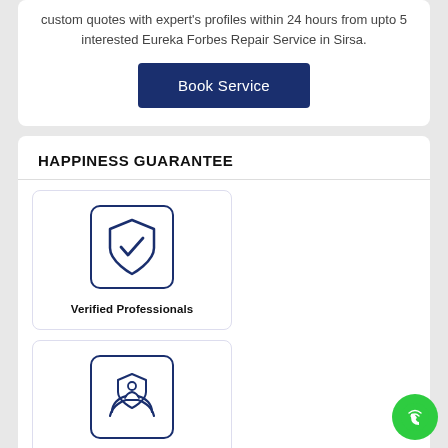custom quotes with expert's profiles within 24 hours from upto 5 interested Eureka Forbes Repair Service in Sirsa.
Book Service
HAPPINESS GUARANTEE
[Figure (illustration): Verified Professionals icon: shield with checkmark inside a rounded square border]
Verified Professionals
[Figure (illustration): Insured Work icon: hands holding a shield with person inside, rounded square border]
Insured Work
[Figure (illustration): Partial shield icon in lower left card]
[Figure (illustration): Partial clock/time icon in lower right card]
[Figure (illustration): Green phone FAB button in bottom right corner]